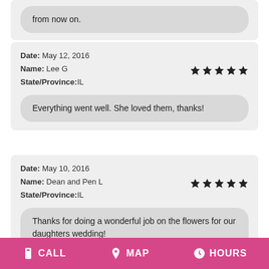from now on.
Date: May 12, 2016
Name: Lee G
State/Province:IL
★★★★★
Everything went well. She loved them, thanks!
Date: May 10, 2016
Name: Dean and Pen L
State/Province:IL
★★★★★
Thanks for doing a wonderful job on the flowers for our daughters wedding!
CALL  MAP  HOURS